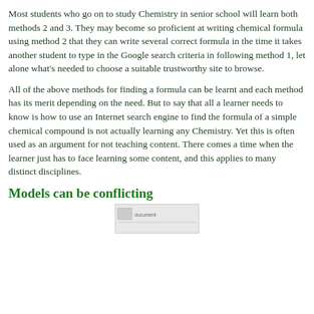Most students who go on to study Chemistry in senior school will learn both methods 2 and 3. They may become so proficient at writing chemical formula using method 2 that they can write several correct formula in the time it takes another student to type in the Google search criteria in following method 1, let alone what's needed to choose a suitable trustworthy site to browse.
All of the above methods for finding a formula can be learnt and each method has its merit depending on the need. But to say that all a learner needs to know is how to use an Internet search engine to find the formula of a simple chemical compound is not actually learning any Chemistry. Yet this is often used as an argument for not teaching content. There comes a time when the learner just has to face learning some content, and this applies to many distinct disciplines.
Models can be conflicting
[Figure (other): Partial image visible at bottom of page, appears to be a document or screenshot thumbnail]